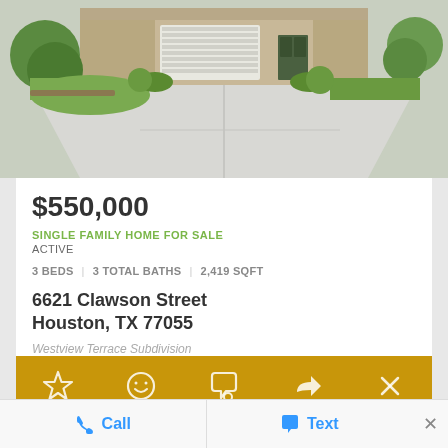[Figure (photo): Exterior photo of a single family home showing driveway, garage, brick facade, and landscaping with trees and lawn]
$550,000
SINGLE FAMILY HOME FOR SALE
ACTIVE
3 BEDS | 3 TOTAL BATHS | 2,419 SQFT
6621 Clawson Street
Houston, TX 77055
Westview Terrace Subdivision
[Figure (other): Gold action toolbar with star (favorite), smiley face, chat bubble, share arrow, and X (close) icons]
[Figure (other): Blue circular avatar icon at bottom left]
Call
Text